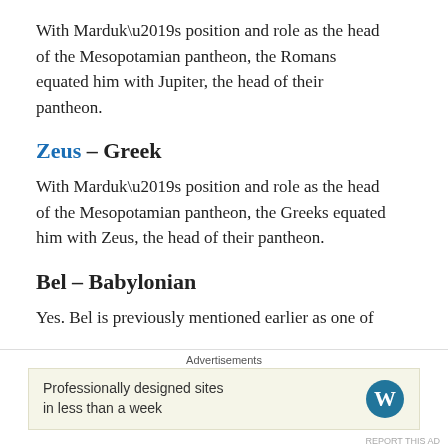With Marduk’s position and role as the head of the Mesopotamian pantheon, the Romans equated him with Jupiter, the head of their pantheon.
Zeus – Greek
With Marduk’s position and role as the head of the Mesopotamian pantheon, the Greeks equated him with Zeus, the head of their pantheon.
Bel – Babylonian
Yes. Bel is previously mentioned earlier as one of
Advertisements
Professionally designed sites in less than a week